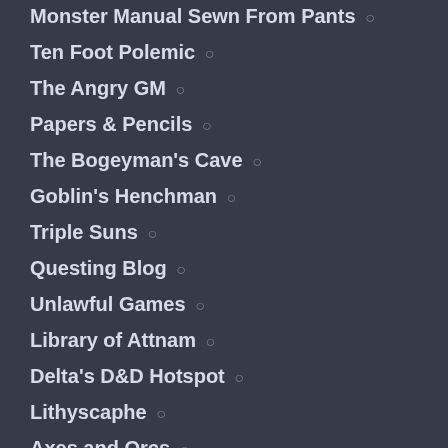Monster Manual Sewn From Pants ○
Ten Foot Polemic ○
The Angry GM ○
Papers & Pencils ○
The Bogeyman's Cave ○
Goblin's Henchman ○
Triple Suns ○
Questing Blog ○
Unlawful Games ○
Library of Attnam ○
Delta's D&D Hotspot ○
Lithyscaphe ○
Axes and Orcs ○